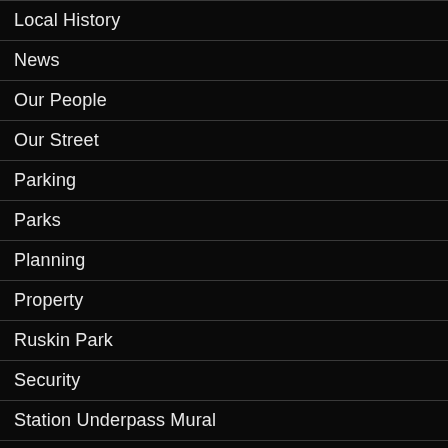Local History
News
Our People
Our Street
Parking
Parks
Planning
Property
Ruskin Park
Security
Station Underpass Mural
Street History